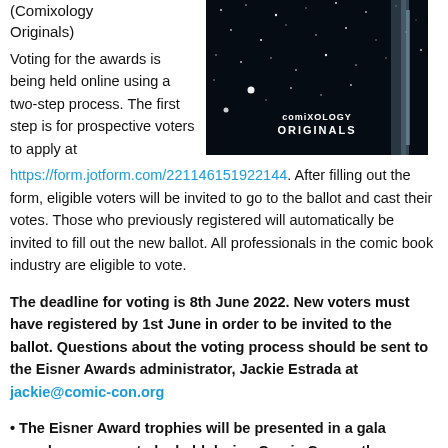(Comixology Originals)
[Figure (photo): Dark space-themed image with stars and a metallic object, featuring the ComiXology Originals logo in white text on the image.]
Voting for the awards is being held online using a two-step process. The first step is for prospective voters to apply at https://form.jotform.com/221146151922144. After filling out the form, eligible voters will be invited to go to the ballot and cast their votes. Those who previously registered will automatically be invited to fill out the new ballot. All professionals in the comic book industry are eligible to vote.
The deadline for voting is 8th June 2022. New voters must have registered by 1st June in order to be invited to the ballot. Questions about the voting process should be sent to the Eisner Awards administrator, Jackie Estrada at jackie@comic-con.org
• The Eisner Award trophies will be presented in a gala awards ceremony to be held during Comic-Con on the